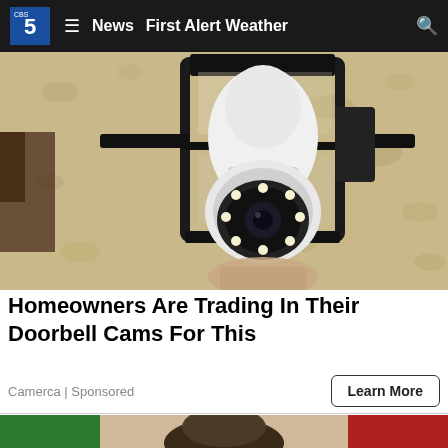CBS 5 News  ≡  News  First Alert Weather  🔍
[Figure (photo): A security camera shaped like a light bulb installed inside a black outdoor lantern fixture mounted on a textured stucco wall. The camera has a circular lens array at the bottom with multiple LED lights visible.]
Homeowners Are Trading In Their Doorbell Cams For This
Camerca | Sponsored
Learn More
[Figure (photo): Partial view of a person's face in front of an Italian flag (green, white, red vertical stripes). Only the top of the head and part of the background flag are visible.]